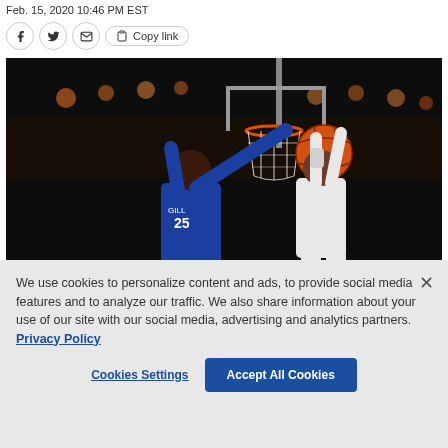Feb. 15, 2020 10:46 PM EST
[Figure (photo): Basketball game photo showing a player in blue jersey attempting to block another player going up for a shot near the basket, with arena crowd in background]
We use cookies to personalize content and ads, to provide social media features and to analyze our traffic. We also share information about your use of our site with our social media, advertising and analytics partners. Privacy Policy
Cookies Settings
Accept All Cookies